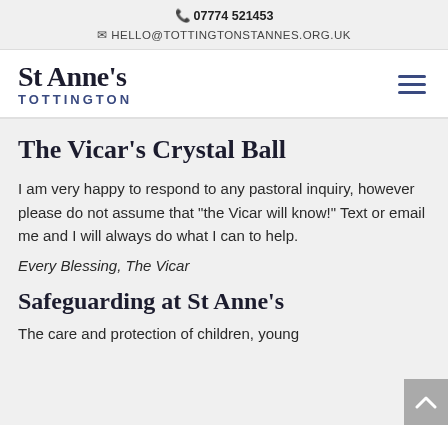07774 521453
HELLO@TOTTINGTONSTANNES.ORG.UK
St Anne's TOTTINGTON
The Vicar's Crystal Ball
I am very happy to respond to any pastoral inquiry, however please do not assume that "the Vicar will know!" Text or email me and I will always do what I can to help.
Every Blessing, The Vicar
Safeguarding at St Anne's
The care and protection of children, young